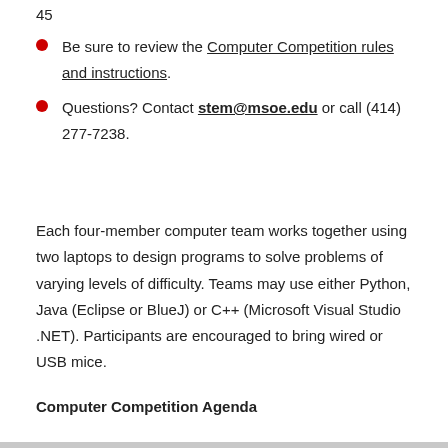45
Be sure to review the Computer Competition rules and instructions.
Questions? Contact stem@msoe.edu or call (414) 277-7238.
Each four-member computer team works together using two laptops to design programs to solve problems of varying levels of difficulty. Teams may use either Python, Java (Eclipse or BlueJ) or C++ (Microsoft Visual Studio .NET). Participants are encouraged to bring wired or USB mice.
Computer Competition Agenda